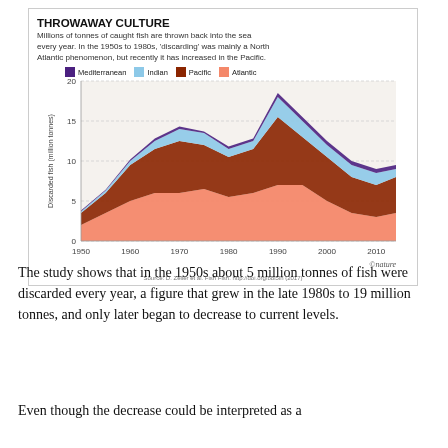[Figure (area-chart): Stacked area chart showing discarded fish (million tonnes) by ocean region (Mediterranean, Indian, Pacific, Atlantic) from 1950 to ~2015.]
The study shows that in the 1950s about 5 million tonnes of fish were discarded every year, a figure that grew in the late 1980s to 19 million tonnes, and only later began to decrease to current levels.
Even though the decrease could be interpreted as a